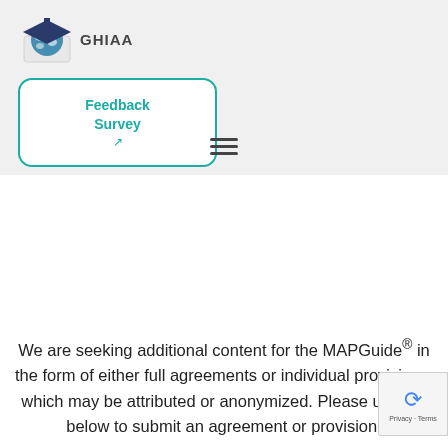[Figure (logo): GHIAA logo: a graduation cap with world map globe, followed by the text GHIAA]
Feedback Survey ↗
We are seeking additional content for the MAPGuide® in the form of either full agreements or individual provisions, which may be attributed or anonymized. Please use the below to submit an agreement or provision.